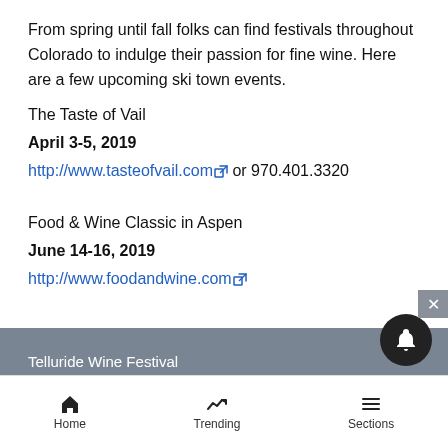From spring until fall folks can find festivals throughout Colorado to indulge their passion for fine wine. Here are a few upcoming ski town events.
The Taste of Vail
April 3-5, 2019
http://www.tasteofvail.com or 970.401.3320
Food & Wine Classic in Aspen
June 14-16, 2019
http://www.foodandwine.com
Telluride Wine Festival
Home   Trending   Sections